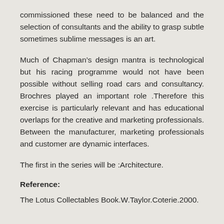commissioned these need to be balanced and the selection of consultants and the ability to grasp subtle sometimes sublime messages is an art.
Much of Chapman’s design mantra is technological but his racing programme would not have been possible without selling road cars and consultancy. Brochres played an important role .Therefore this exercise is particularly relevant and has educational overlaps for the creative and marketing professionals. Between the manufacturer, marketing professionals and customer are dynamic interfaces.
The first in the series will be :Architecture.
Reference:
The Lotus Collectables Book.W.Taylor.Coterie.2000.